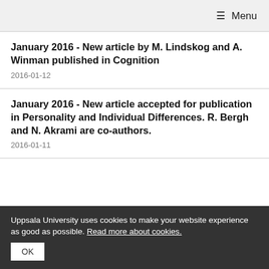≡ Menu
January 2016 - New article by M. Lindskog and A. Winman published in Cognition
2016-01-12
January 2016 - New article accepted for publication in Personality and Individual Differences. R. Bergh and N. Akrami are co-authors.
2016-01-11
Uppsala University uses cookies to make your website experience as good as possible. Read more about cookies.